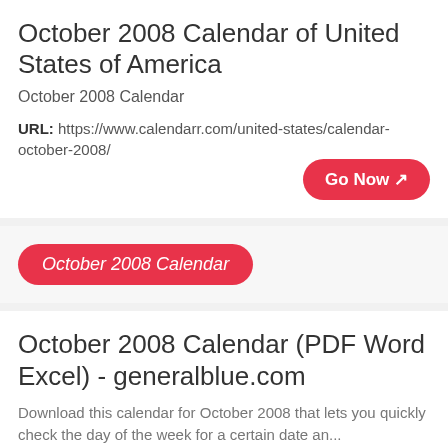October 2008 Calendar of United States of America
October 2008 Calendar
URL: https://www.calendarr.com/united-states/calendar-october-2008/
October 2008 Calendar
October 2008 Calendar (PDF Word Excel) - generalblue.com
Download this calendar for October 2008 that lets you quickly check the day of the week for a certain date an...
URL: https://www.generalblue.com/calendar/october-2008